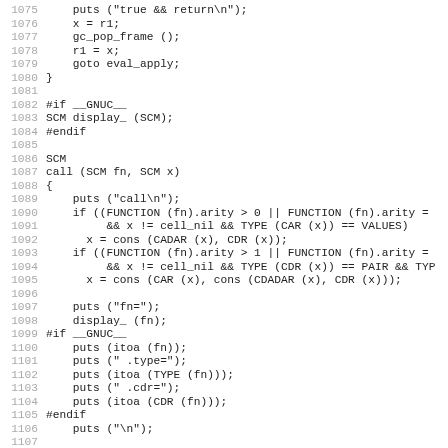[Figure (other): Source code listing in C, lines 1075-1107, showing function definitions including gc_pop_frame, goto eval_apply, display_, call with SCM types, conditional checks with FUNCTION arity, cons/car/cdr operations, and debug puts statements under __GNUC__ preprocessor guards.]